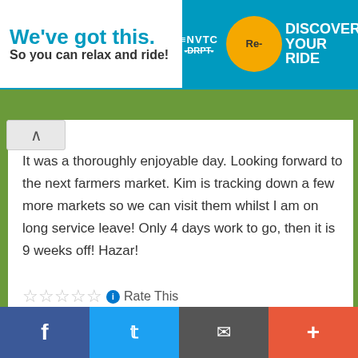[Figure (screenshot): Advertisement banner: NVTC DRPT Re-DISCOVER YOUR RIDE with text 'We've got this. So you can relax and ride!']
work...
It was a thoroughly enjoyable day.  Looking forward to the next farmers market.  Kim is tracking down a few more markets so we can visit them whilst I am on long service leave!  Only 4 days work to go, then it is 9 weeks off!  Hazar!
Rate This
Will this article help someone you know? If so help them out by sharing now!
[Figure (screenshot): Social sharing icons: Facebook, Twitter, LinkedIn, Reddit, Skype, Pinterest, Tumblr, Print]
[Figure (screenshot): Bottom navigation bar with Facebook, Twitter, share, and plus icons]